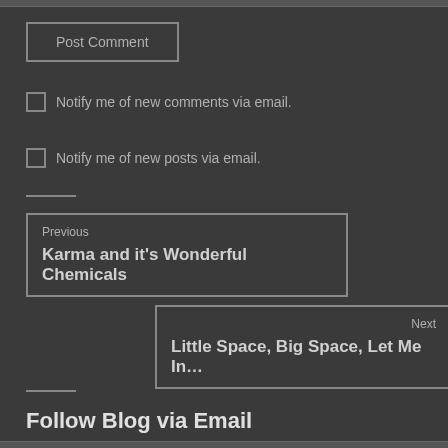Post Comment
Notify me of new comments via email.
Notify me of new posts via email.
Previous
Karma and it's Wonderful Chemicals
Next
Little Space, Big Space, Let Me In…
Follow Blog via Email